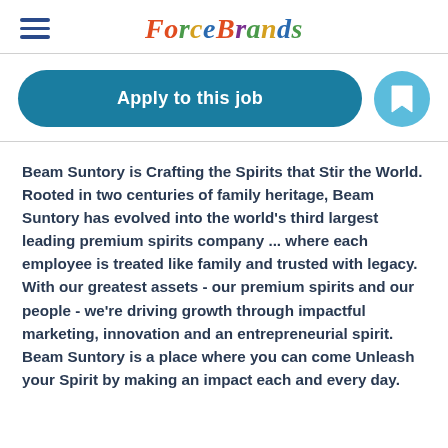ForceBrands
[Figure (other): Apply to this job button (teal rounded rectangle) and a bookmark icon (light blue circle)]
Beam Suntory is Crafting the Spirits that Stir the World. Rooted in two centuries of family heritage, Beam Suntory has evolved into the world's third largest leading premium spirits company ... where each employee is treated like family and trusted with legacy. With our greatest assets - our premium spirits and our people - we're driving growth through impactful marketing, innovation and an entrepreneurial spirit. Beam Suntory is a place where you can come Unleash your Spirit by making an impact each and every day.